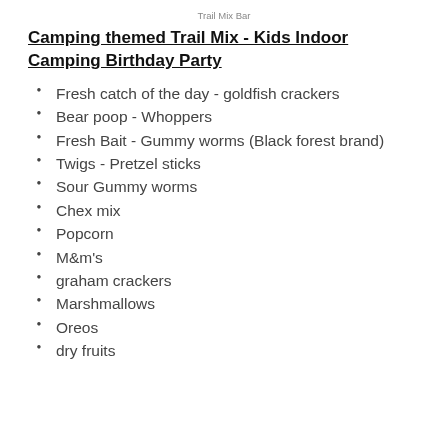Trail Mix Bar
Camping themed Trail Mix - Kids Indoor Camping Birthday Party
Fresh catch of the day - goldfish crackers
Bear poop - Whoppers
Fresh Bait - Gummy worms (Black forest brand)
Twigs - Pretzel sticks
Sour Gummy worms
Chex mix
Popcorn
M&m's
graham crackers
Marshmallows
Oreos
dry fruits